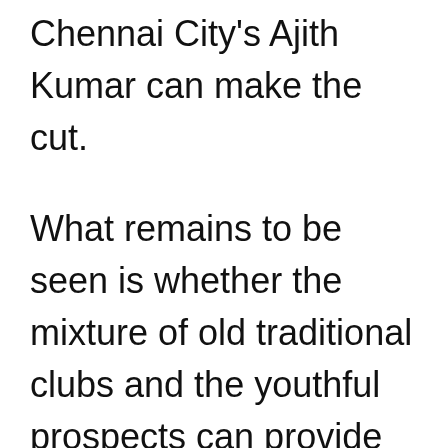Chennai City's Ajith Kumar can make the cut.
What remains to be seen is whether the mixture of old traditional clubs and the youthful prospects can provide yet another ebullient season, continuing the trend of having a new champion in the last five years. Be it Mohun Bagan winning the league in the dying embers of the game,